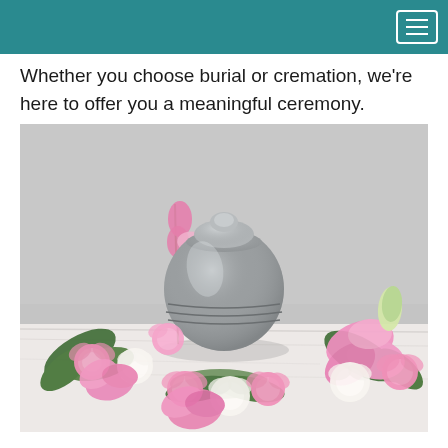Whether you choose burial or cremation, we’re here to offer you a meaningful ceremony.
[Figure (photo): A silver/pewter cremation urn surrounded by a floral arrangement of pink lilies, pink carnations, white roses, pink snapdragons, and green ferns on a white marble surface against a grey background.]